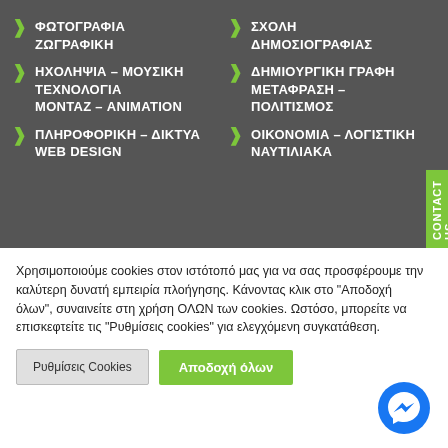ΦΩΤΟΓΡΑΦΙΑ ΖΩΓΡΑΦΙΚΗ
ΣΧΟΛΗ ΔΗΜΟΣΙΟΓΡΑΦΙΑΣ
ΗΧΟΛΗΨΙΑ – ΜΟΥΣΙΚΗ ΤΕΧΝΟΛΟΓΙΑ ΜΟΝΤΑΖ – ANIMATION
ΔΗΜΙΟΥΡΓΙΚΗ ΓΡΑΦΗ ΜΕΤΑΦΡΑΣΗ – ΠΟΛΙΤΙΣΜΟΣ
ΠΛΗΡΟΦΟΡΙΚΗ – ΔΙΚΤΥΑ WEB DESIGN
ΟΙΚΟΝΟΜΙΑ – ΛΟΓΙΣΤΙΚΗ ΝΑΥΤΙΛΙΑΚΑ
Χρησιμοποιούμε cookies στον ιστότοπό μας για να σας προσφέρουμε την καλύτερη δυνατή εμπειρία πλοήγησης. Κάνοντας κλικ στο "Αποδοχή όλων", συναινείτε στη χρήση ΟΛΩΝ των cookies. Ωστόσο, μπορείτε να επισκεφτείτε τις "Ρυθμίσεις cookies" για ελεγχόμενη συγκατάθεση.
Ρυθμίσεις Cookies | Αποδοχή όλων